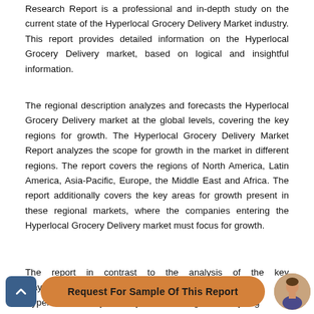Research Report is a professional and in-depth study on the current state of the Hyperlocal Grocery Delivery Market industry. This report provides detailed information on the Hyperlocal Grocery Delivery market, based on logical and insightful information.
The regional description analyzes and forecasts the Hyperlocal Grocery Delivery market at the global levels, covering the key regions for growth. The Hyperlocal Grocery Delivery Market Report analyzes the scope for growth in the market in different regions. The report covers the regions of North America, Latin America, Asia-Pacific, Europe, the Middle East and Africa. The report additionally covers the key areas for growth present in these regional markets, where the companies entering the Hyperlocal Grocery Delivery market must focus for growth.
The report in contrast to the analysis of the key players, ...cape of the Hyperlocal Grocery Delivery market, along with analyzing the investment opportunities for the market participants.
[Figure (other): Orange CTA button with text 'Request For Sample Of This Report', a dark blue back/up arrow button on the left, and a small circular avatar photo on the right.]